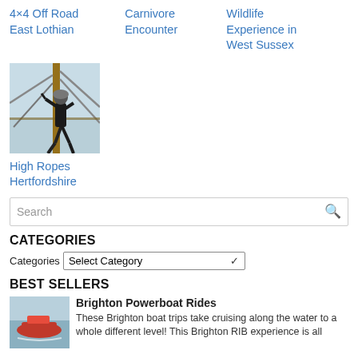4×4 Off Road East Lothian
Carnivore Encounter
Wildlife Experience in West Sussex
[Figure (photo): Person walking on high ropes course between wooden poles with ropes, wearing dark clothing and helmet, sky in background]
High Ropes Hertfordshire
Search
CATEGORIES
Categories  Select Category
BEST SELLERS
[Figure (photo): Brighton powerboat on water]
Brighton Powerboat Rides
These Brighton boat trips take cruising along the water to a whole different level! This Brighton RIB experience is all